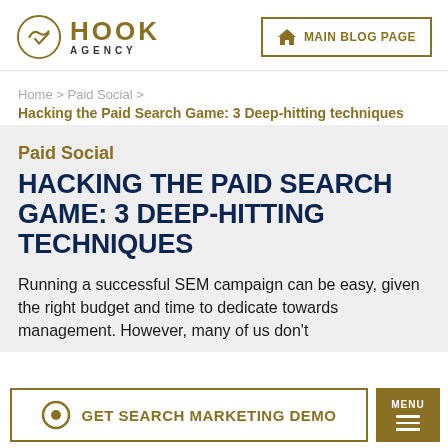[Figure (logo): Hook Agency logo — circular icon with a checkmark/hook symbol and text 'HOOK AGENCY']
MAIN BLOG PAGE
Home > Paid Social > Hacking the Paid Search Game: 3 Deep-hitting techniques
Paid Social
HACKING THE PAID SEARCH GAME: 3 DEEP-HITTING TECHNIQUES
Running a successful SEM campaign can be easy, given the right budget and time to dedicate towards management. However, many of us don't
GET SEARCH MARKETING DEMO
MENU